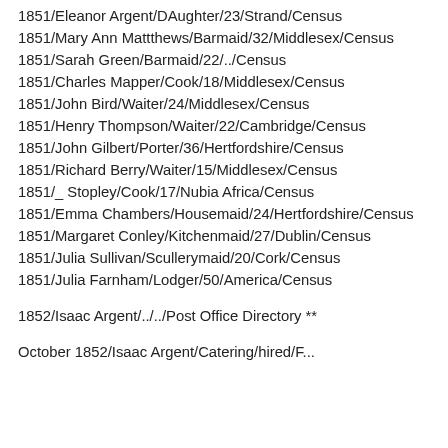1851/Eleanor Argent/DAughter/23/Strand/Census
1851/Mary Ann Mattthews/Barmaid/32/Middlesex/Census
1851/Sarah Green/Barmaid/22/../Census
1851/Charles Mapper/Cook/18/Middlesex/Census
1851/John Bird/Waiter/24/Middlesex/Census
1851/Henry Thompson/Waiter/22/Cambridge/Census
1851/John Gilbert/Porter/36/Hertfordshire/Census
1851/Richard Berry/Waiter/15/Middlesex/Census
1851/_ Stopley/Cook/17/Nubia Africa/Census
1851/Emma Chambers/Housemaid/24/Hertfordshire/Census
1851/Margaret Conley/Kitchenmaid/27/Dublin/Census
1851/Julia Sullivan/Scullerymaid/20/Cork/Census
1851/Julia Farnham/Lodger/50/America/Census
1852/Isaac Argent/../../Post Office Directory **
October 1852/Isaac Argent/Catering/hired/F...